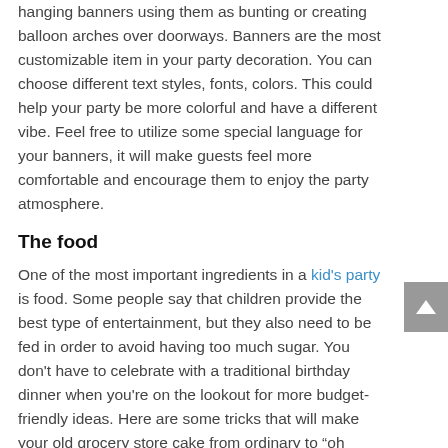Creative ideas for party decorations include creating hanging banners using them as bunting or creating balloon arches over doorways. Banners are the most customizable item in your party decoration. You can choose different text styles, fonts, colors. This could help your party be more colorful and have a different vibe. Feel free to utilize some special language for your banners, it will make guests feel more comfortable and encourage them to enjoy the party atmosphere.
The food
One of the most important ingredients in a kid's party is food. Some people say that children provide the best type of entertainment, but they also need to be fed in order to avoid having too much sugar. You don't have to celebrate with a traditional birthday dinner when you're on the lookout for more budget-friendly ideas. Here are some tricks that will make your old grocery store cake from ordinary to “oh wow!”